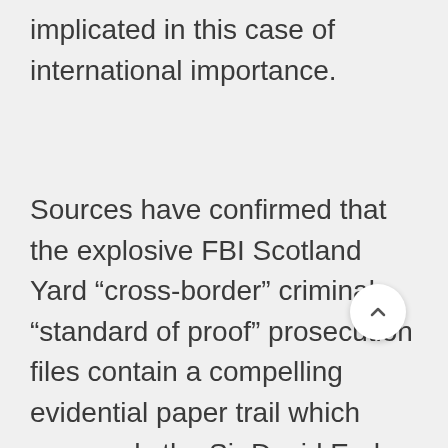implicated in this case of international importance.
Sources have confirmed that the explosive FBI Scotland Yard “cross-border” criminal “standard of proof” prosecution files contain a compelling evidential paper trail which surrounds the Sir David Eady and the Dame Victoria Sharp “close links” with the “targeted” Withersworldwide and Goodman Derrick law firms trans-national crime syndicate who are known to have executed this massive bank fraud heist operation which stretches the